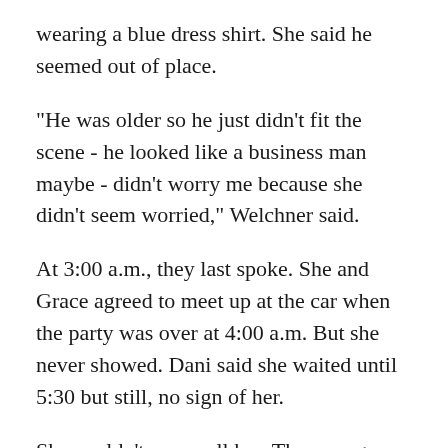wearing a blue dress shirt. She said he seemed out of place.
"He was older so he just didn't fit the scene - he looked like a business man maybe - didn't worry me because she didn't seem worried," Welchner said.
At 3:00 a.m., they last spoke. She and Grace agreed to meet up at the car when the party was over at 4:00 a.m. But she never showed. Dani said she waited until 5:30 but still, no sign of her.
She couldn't even call her. The young women left their phones and IDs in the car. So Grace, wherever she may be, has no phone or ID and just a few bucks.
Grace's mother, Betty Martinez has been distributing flyers, making phone calls, checking hospitals, jails, and